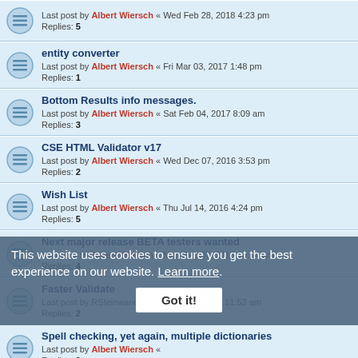Last post by Albert Wiersch « Wed Feb 28, 2018 4:23 pm
Replies: 5
entity converter
Last post by Albert Wiersch « Fri Mar 03, 2017 1:48 pm
Replies: 1
Bottom Results info messages.
Last post by Albert Wiersch « Sat Feb 04, 2017 8:09 am
Replies: 3
CSE HTML Validator v17
Last post by Albert Wiersch « Wed Dec 07, 2016 3:53 pm
Replies: 2
Wish List
Last post by Albert Wiersch « Thu Jul 14, 2016 4:24 pm
Replies: 5
Next major release BETA testers wanted
Last post by Albert Wiersch « Mon Sep 07, 2015 10:04 am
Replies: 4
Faster Validate
Last post by RSteinwand « Wed May 20, 2015 11:53 am
Replies: 2
Spell checking, yet again, multiple dictionaries
Last post by Albert Wiersch « [date]
Replies: 2
Font families....
Last post by Albert Wiersch « Thu Nov 20, 2014 10:41 pm
Replies: 5
JavaScript
Last post by MikeGale « Sun Aug 24, 2014 5:45 am
This website uses cookies to ensure you get the best experience on our website. Learn more
Got it!